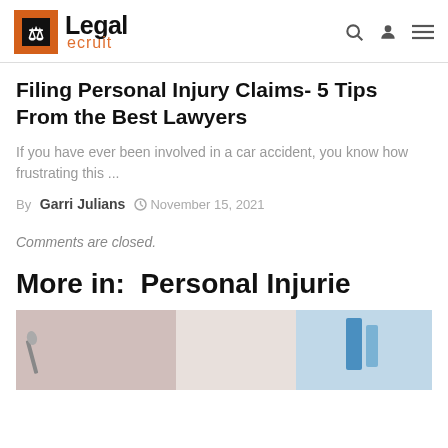LegalEcruit
Filing Personal Injury Claims- 5 Tips From the Best Lawyers
If you have ever been involved in a car accident, you know how frustrating this ...
By Garri Julians  ⊙ November 15, 2021
Comments are closed.
More in:  Personal Injurie
[Figure (photo): A blurred background photo showing a pen and a blue binder/folder, likely related to legal documents or personal injury claims.]